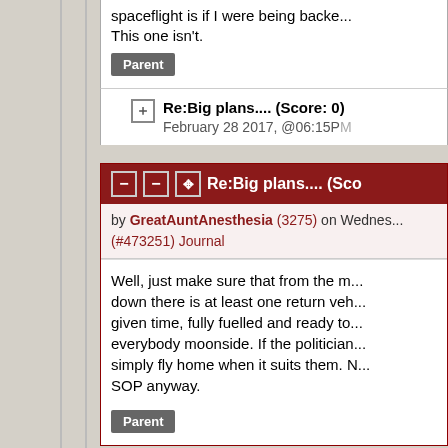spaceflight is if I were being backe... This one isn't.
Parent
Re:Big plans.... (Score: 0) February 28 2017, @06:15PM
Re:Big plans.... (Sco...
by GreatAuntAnesthesia (3275) on Wednes... (#473251) Journal
Well, just make sure that from the m... down there is at least one return veh... given time, fully fuelled and ready to... everybody moonside. If the politician... simply fly home when it suits them. N... SOP anyway.
Parent
Re:Big plans.... (Score: 2...
by Grishnakh (2831) on Wednesday Ma...